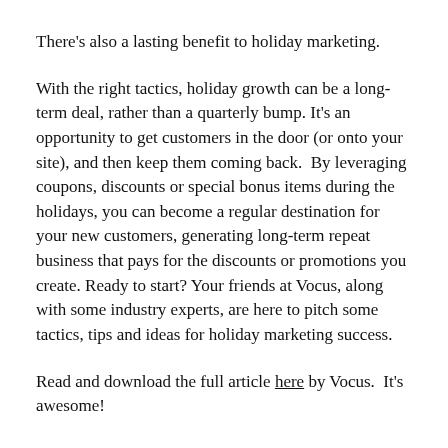There's also a lasting benefit to holiday marketing.
With the right tactics, holiday growth can be a long-term deal, rather than a quarterly bump. It's an opportunity to get customers in the door (or onto your site), and then keep them coming back.  By leveraging coupons, discounts or special bonus items during the holidays, you can become a regular destination for your new customers, generating long-term repeat business that pays for the discounts or promotions you create. Ready to start? Your friends at Vocus, along with some industry experts, are here to pitch some tactics, tips and ideas for holiday marketing success.
Read and download the full article here by Vocus.  It's awesome!